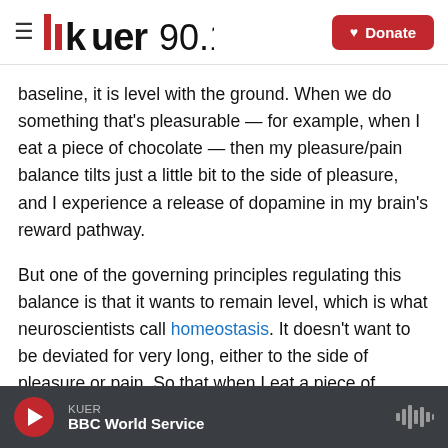KUER 90.1 | Donate
baseline, it is level with the ground. When we do something that's pleasurable — for example, when I eat a piece of chocolate — then my pleasure/pain balance tilts just a little bit to the side of pleasure, and I experience a release of dopamine in my brain's reward pathway.
But one of the governing principles regulating this balance is that it wants to remain level, which is what neuroscientists call homeostasis. It doesn't want to be deviated for very long, either to the side of pleasure or pain. So that when I eat a piece of chocolate, immediately
KUER | BBC World Service